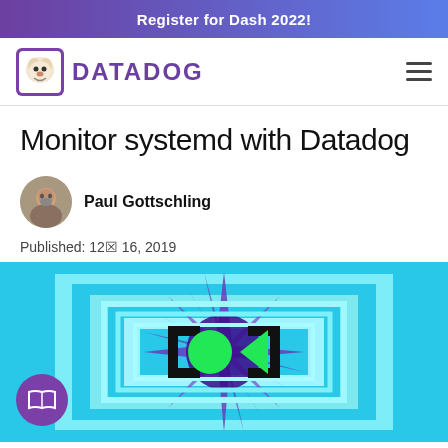Register for Dash 2022!
[Figure (logo): Datadog logo with dog icon and DATADOG wordmark in purple]
Monitor systemd with Datadog
Paul Gottschling
Published: 12月 16, 2019
[Figure (illustration): Hero illustration with concentric cyan/turquoise square frames, purple starburst rays in the center, black bracket symbols, green circle and triangle shapes on a cyan background]